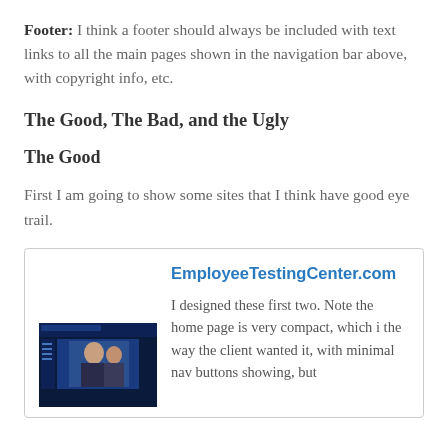Footer: I think a footer should always be included with text links to all the main pages shown in the navigation bar above, with copyright info, etc.
The Good, The Bad, and the Ugly
The Good
First I am going to show some sites that I think have good eye trail.
[Figure (screenshot): Card with EmployeeTestingCenter.com title link in blue, a thumbnail screenshot of the website showing a dark blue homepage with an image of people, and text beginning 'I designed these first two. Note the home page is very compact, which i the way the client wanted it, with minimal nav buttons showing, but']